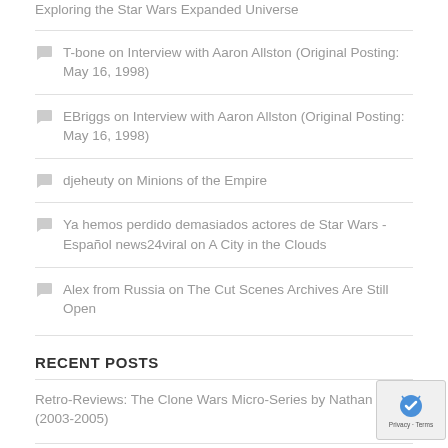Exploring the Star Wars Expanded Universe
T-bone on Interview with Aaron Allston (Original Posting: May 16, 1998)
EBriggs on Interview with Aaron Allston (Original Posting: May 16, 1998)
djeheuty on Minions of the Empire
Ya hemos perdido demasiados actores de Star Wars - Español news24viral on A City in the Clouds
Alex from Russia on The Cut Scenes Archives Are Still Open
RECENT POSTS
Retro-Reviews: The Clone Wars Micro-Series by Nathan Butler (2003-2005)